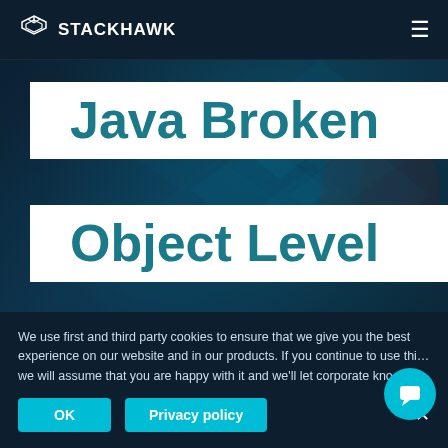STACKHAWK
Java Broken
Object Level
Authorization
We use first and third party cookies to ensure that we give you the best experience on our website and in our products. If you continue to use this site we will assume that you are happy with it and we'll let corporate know.